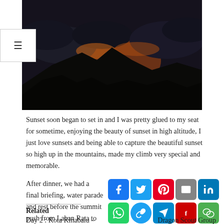[Figure (photo): Sunset photo taken from high altitude showing dramatic orange glow breaking through dark storm clouds over mountain silhouettes]
Sunset soon began to set in and I was pretty glued to my seat for sometime, enjoying the beauty of sunset in high altitude, I just love sunsets and being able to capture the beautiful sunset so high up in the mountains, made my climb very special and memorable.
After dinner, we had a final briefing, water parade and rest before the summit push from Laban Rata to Low's Peak......
[Figure (other): Social media sharing buttons grid: Facebook, Twitter, Pinterest, Email, LinkedIn, WhatsApp, Copy link, Telegram, Flipboard, WeChat, Gmail, More]
Related
Day 2 : Kota Kinabalu –
Dragon Scout Group